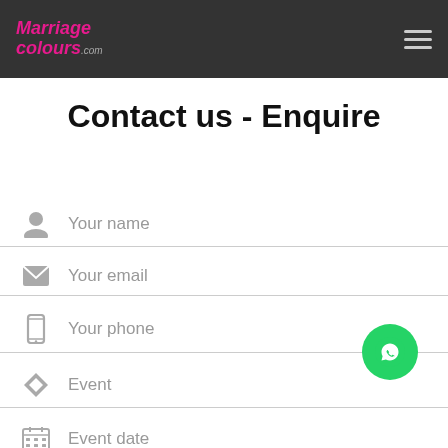MarriageColours.com
Contact us - Enquire
Your name
Your email
Your phone
Event
Event date